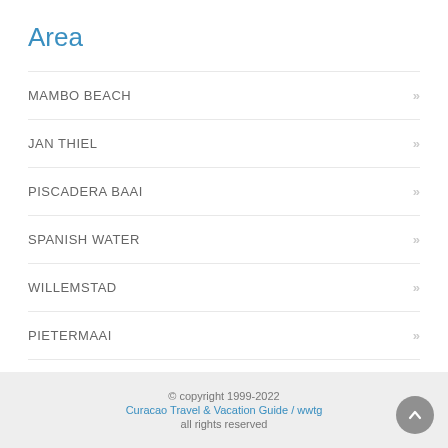Area
MAMBO BEACH
JAN THIEL
PISCADERA BAAI
SPANISH WATER
WILLEMSTAD
PIETERMAAI
WESTPUNT
© copyright 1999-2022
Curacao Travel & Vacation Guide / wwtg
all rights reserved